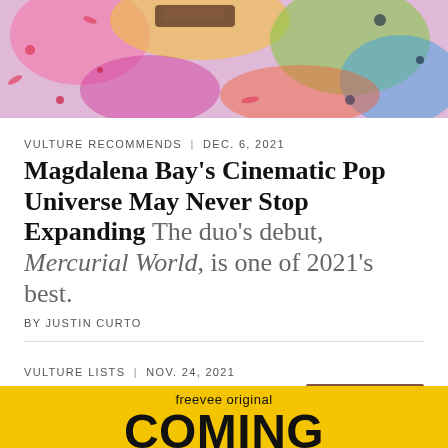[Figure (photo): Colorful abstract/artistic top banner image with bright pinks, yellows, purples, and greens — appears to be a makeup or fashion product photo with psychedelic patterns]
VULTURE RECOMMENDS | DEC. 6, 2021
Magdalena Bay's Cinematic Pop Universe May Never Stop Expanding The duo's debut, Mercurial World, is one of 2021's best.
BY JUSTIN CURTO
VULTURE LISTS | NOV. 24, 2021
What to See, Watch, and Stream This Thanksgiving Weekend
From big-budget theatrical releases to quirky streaming comedies.
[Figure (photo): Thumbnail photo of a woman with dark curly hair, wearing red, smiling — appears to be a movie or TV show promotional image]
[Figure (other): Yellow advertisement banner for 'freevee original' with large bold text beginning with 'COMING']